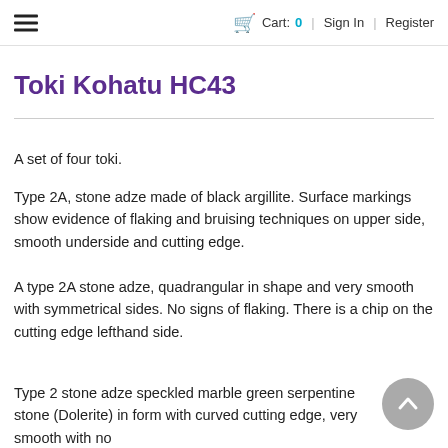Cart: 0 | Sign In | Register
Toki Kohatu HC43
A set of four toki.
Type 2A, stone adze made of black argillite. Surface markings show evidence of flaking and bruising techniques on upper side, smooth underside and cutting edge.
A type 2A stone adze, quadrangular in shape and very smooth with symmetrical sides. No signs of flaking. There is a chip on the cutting edge lefthand side.
Type 2 stone adze speckled marble green serpentine stone (Dolerite) in form with curved cutting edge, very smooth with no